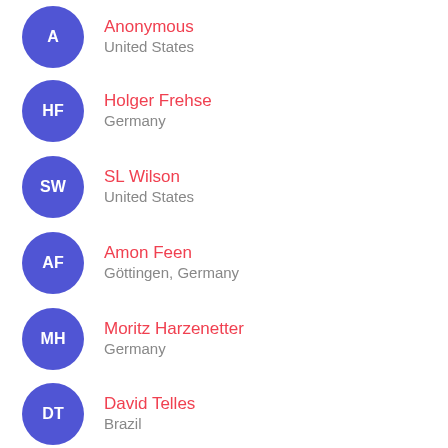Anonymous — United States
Holger Frehse — Germany
SL Wilson — United States
Amon Feen — Göttingen, Germany
Moritz Harzenetter — Germany
David Telles — Brazil